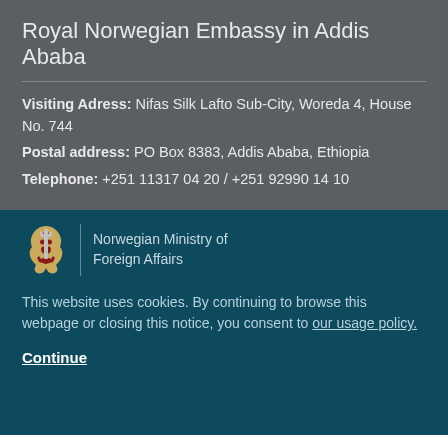Royal Norwegian Embassy in Addis Ababa
Visiting Adress: Nifas Silk Lafto Sub-City, Woreda 4, House No. 744
Postal address: PO Box 8383, Addis Ababa, Ethiopia
Telephone: +251 11317 04 20 / +251 92990 14 10
[Figure (logo): Norwegian lion heraldic emblem with Norwegian Ministry of Foreign Affairs text]
This website uses cookies. By continuing to browse this webpage or closing this notice, you consent to our usage policy.
Continue